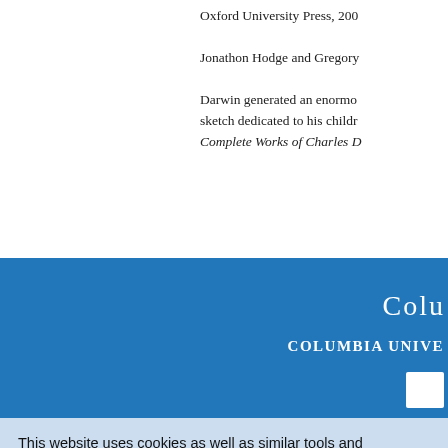Oxford University Press, 200
Jonathon Hodge and Gregory
Darwin generated an enormo sketch dedicated to his childr Complete Works of Charles D
Colu
Columbia Unive
This website uses cookies as well as similar tools and technologies to understand visitors' experiences. By continuing to use this website, you consent to Columbia University's usage of cookies and similar technologies in